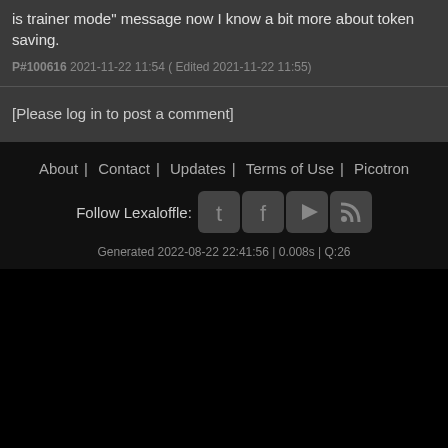is trainer mode" message now I know a bit more about token saving.
P#100616 2021-11-22 11:54 ( Edited 2021-11-22 11:55)
[Please log in to post a comment]
About | Contact | Updates | Terms of Use | Picotron
Follow Lexaloffle:
Generated 2022-08-22 22:41:56 | 0.008s | Q:26